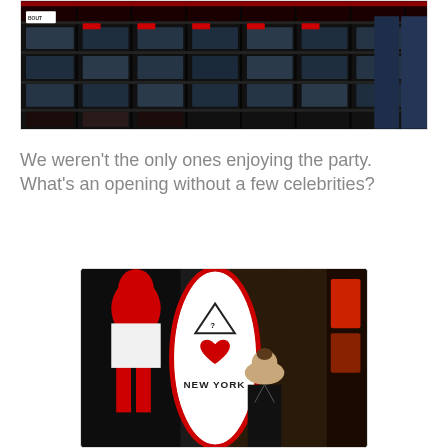[Figure (photo): Interior of a clothing store with dark shelving units filled with folded jeans and denim products displayed on multiple shelf levels.]
We weren't the only ones enjoying the party. What's an opening without a few celebrities?
[Figure (photo): A woman in a black dress standing in front of a large white surfboard with a red border. The surfboard has a GUESS logo (inverted triangle with question mark) and text reading 'NEW YORK' with a red heart. A mannequin dressed in red and white is visible in the background.]